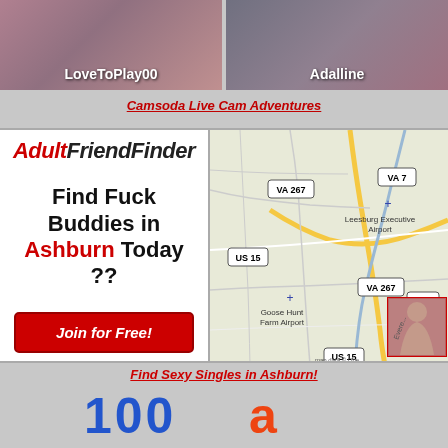[Figure (photo): Two webcam performer thumbnails side by side. Left panel shows performer labeled 'LoveToPlay00', right panel shows performer labeled 'Adalline'.]
Camsoda Live Cam Adventures
[Figure (infographic): AdultFriendFinder advertisement with logo, text 'Find Fuck Buddies in Ashburn Today ??' and 'Join for Free!' button, alongside a map showing Leesburg/Ashburn area Virginia with road markers VA 267, VA 7, US 15 and airports Leesburg Executive Airport and Goose Hunt Farm Airport.]
Find Sexy Singles in Ashburn!
[Figure (logo): Partial logo at bottom of page, blue colored numbers/letters partially visible.]